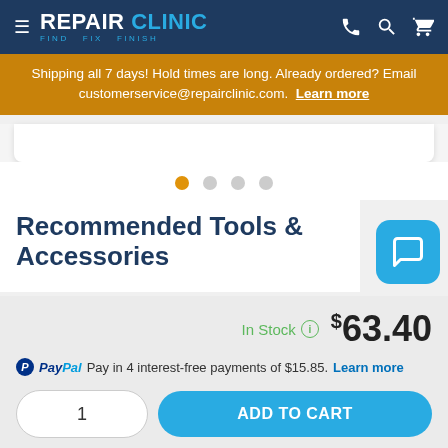REPAIR CLINIC — FIND. FIX. FINISH.
Shipping all 7 days! Hold times are long. Already ordered? Email customerservice@repairclinic.com. Learn more
Recommended Tools & Accessories
In Stock  $63.40
PayPal  Pay in 4 interest-free payments of $15.85.  Learn more
1  ADD TO CART
Order by 8:30 pm, this part ships TODAY!